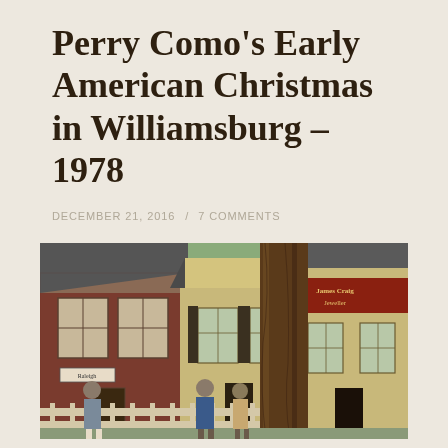Perry Como's Early American Christmas in Williamsburg – 1978
DECEMBER 21, 2016  /  7 COMMENTS
[Figure (photo): Street scene in Colonial Williamsburg showing historic buildings including a brick structure and yellow clapboard buildings with a sign reading 'James Craig Jeweller'. A large tree trunk is prominent on the right. Several people in colonial-era costumes are gathered on the street in the foreground.]